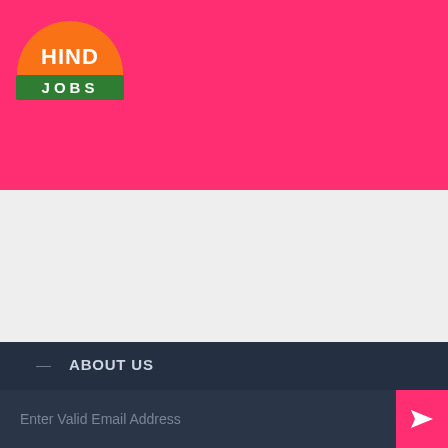[Figure (logo): Hind Jobs logo: orange semicircle with white text HIND above a green bar with white text JOBS, on a pink/magenta header background]
— ABOUT US
— CONTACT US
— PRIVACY POLICY
— DISCLAIMER
— Get-Jobs
Enter Valid Email Address